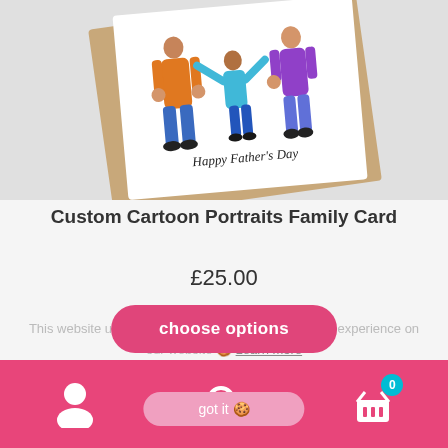[Figure (illustration): A greeting card showing cartoon family figures (adult in orange jacket, child in blue, adult in purple) holding hands with text 'Happy Father's Day', displayed at an angle on a tan envelope background]
Custom Cartoon Portraits Family Card
£25.00
choose options
This website uses cookies to ensure you get the best experience on our website 🍪 Learn more
got it 🍪